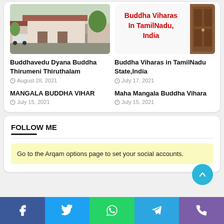[Figure (photo): Thumbnail photo of a building/house exterior]
[Figure (illustration): Text graphic: Buddha Viharas In TamilNadu, India in red on white background with wooden door image]
Buddhavedu Dyana Buddha Thirumeni Thiruthalam
August 28, 2021
Buddha Viharas in TamilNadu State,India
July 17, 2021
MANGALA BUDDHA VIHAR
July 15, 2021
Maha Mangala Buddha Vihara
July 15, 2021
FOLLOW ME
Go to the Arqam options page to set your social accounts.